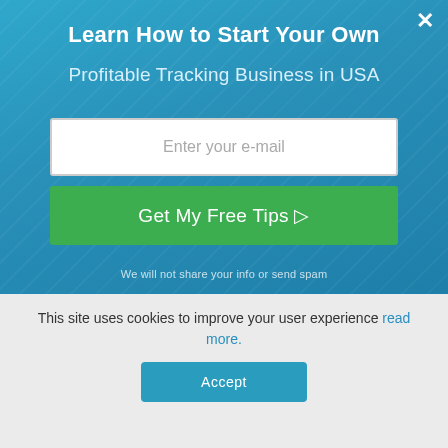Learn How to Start Your Own Profitable Tracking Business in USA
[Figure (screenshot): Email opt-in modal popup with blue gradient background, email input field, green CTA button 'Get My Free Tips', and privacy note]
Enter your e-mail
Get My Free Tips
We will not share your info or send spam
This site uses cookies to improve your user experience read more.
Accept